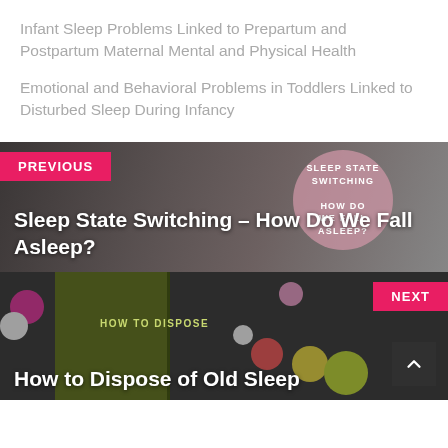Infant Sleep Problems Linked to Prepartum and Postpartum Maternal Mental and Physical Health
Emotional and Behavioral Problems in Toddlers Linked to Disturbed Sleep During Infancy
[Figure (photo): Previous article navigation block with dark background showing sleeping person and pink circle graphic overlay. Label reads PREVIOUS. Title: Sleep State Switching – How Do We Fall Asleep?]
[Figure (photo): Next article navigation block with dark background showing green book and colorful pills/capsules. Label reads NEXT. Title: How to Dispose of Old Sleep]